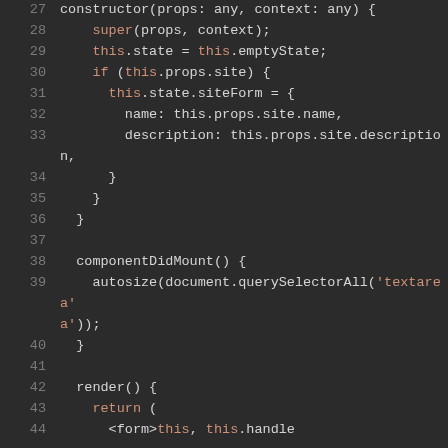[Figure (screenshot): Code editor screenshot showing JavaScript/JSX code lines 27-45 with syntax highlighting on dark background. Lines show a constructor method, componentDidMount, and render method of a React component.]